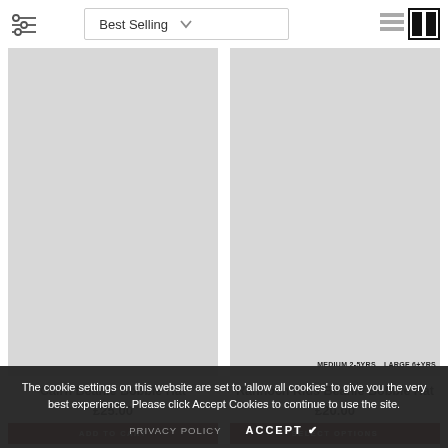Filter | Best Selling | View toggle
[Figure (photo): Product image area for Cairn Beanie Bobble Hat (image not shown, grey placeholder)]
Cairn Beanie Bobble Hat
£25.00
ADD TO CART
[Figure (photo): Product image area for Rannoch Kids Beanie Bobble Hat (image not shown, grey placeholder) with size tags MEDIUM 2-5YRS and LARGE 6+YRS]
MEDIUM 2-5YRS    LARGE 6+YRS
Rannoch Kids Beanie Bobble Hat
£20.00
SELECT OPTIONS
The cookie settings on this website are set to 'allow all cookies' to give you the very best experience. Please click Accept Cookies to continue to use the site.
PRIVACY POLICY    ACCEPT ✔